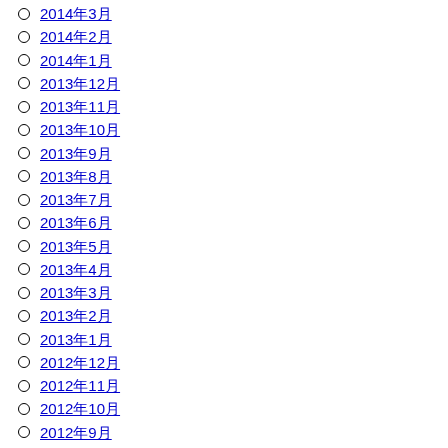2014年3月
2014年2月
2014年1月
2013年12月
2013年11月
2013年10月
2013年9月
2013年8月
2013年7月
2013年6月
2013年5月
2013年4月
2013年3月
2013年2月
2013年1月
2012年12月
2012年11月
2012年10月
2012年9月
2012年8月
2012年7月
2012年6月
2012年5月
2012年4月
2012年3月